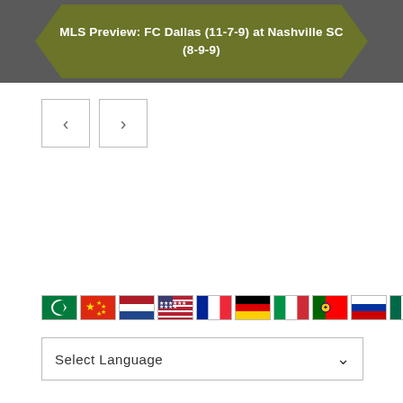[Figure (screenshot): MLS Preview banner with hexagon shape on dark grey background. Text: MLS Preview: FC Dallas (11-7-9) at Nashville SC (8-9-9)]
[Figure (screenshot): Navigation previous and next buttons (left arrow, right arrow) in square outlines]
[Figure (screenshot): Row of country flag icons: Arabic, China, Netherlands, USA, France, Germany, Italy, Portugal, Russia, Mexico, Thailand]
[Figure (screenshot): Select Language dropdown widget with chevron]
[Figure (screenshot): FantasyGuru advertisement banner with dark blue background. Text: BASEBALL SEASON IS UPON US! with three baseball players.]